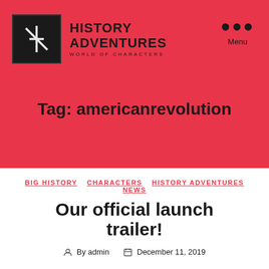[Figure (logo): History Adventures logo with stylized HA icon in black box and text 'HISTORY ADVENTURES WORLD OF CHARACTERS']
Tag: americanrevolution
BIG HISTORY   CHARACTERS   HISTORY ADVENTURES   NEWS
Our official launch trailer!
By admin   December 11, 2019